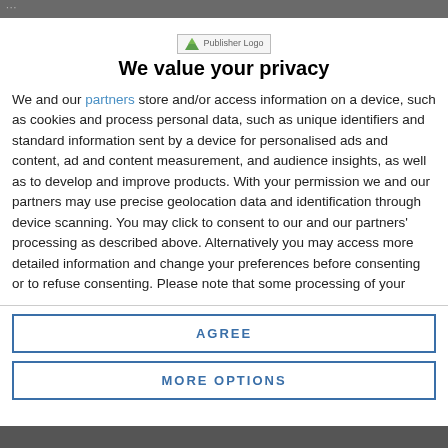···
[Figure (logo): Publisher Logo placeholder image]
We value your privacy
We and our partners store and/or access information on a device, such as cookies and process personal data, such as unique identifiers and standard information sent by a device for personalised ads and content, ad and content measurement, and audience insights, as well as to develop and improve products. With your permission we and our partners may use precise geolocation data and identification through device scanning. You may click to consent to our and our partners' processing as described above. Alternatively you may access more detailed information and change your preferences before consenting or to refuse consenting. Please note that some processing of your
AGREE
MORE OPTIONS